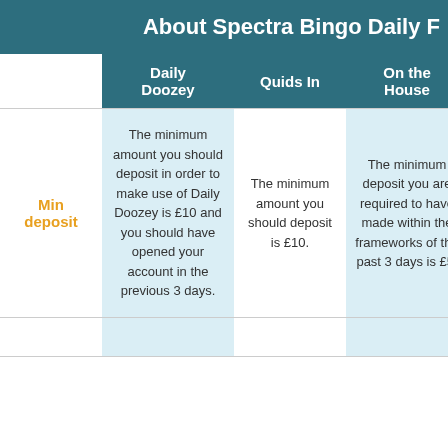About Spectra Bingo Daily F
|  | Daily Doozey | Quids In | On the House | Fre |
| --- | --- | --- | --- | --- |
| Min deposit | The minimum amount you should deposit in order to make use of Daily Doozey is £10 and you should have opened your account in the previous 3 days. | The minimum amount you should deposit is £10. | The minimum deposit you are required to have made within the frameworks of the past 3 days is £5. | min depo shou is £ add thi shou oper b ac dur pa d |